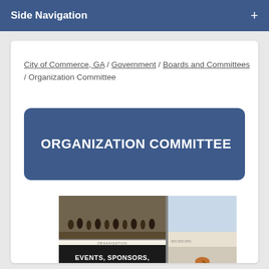Side Navigation +
City of Commerce, GA / Government / Boards and Committees / Organization Committee
ORGANIZATION COMMITTEE
[Figure (photo): Composite promotional image for Organization Committee showing a marching band, cycling race, group of cheering volunteers, and a sponsor sign with text 'EVENTS, SPONSORS, VOLUNTEERS' and 'WE NEED YOU!' and 'to be best point of vi Sponsor V person or']